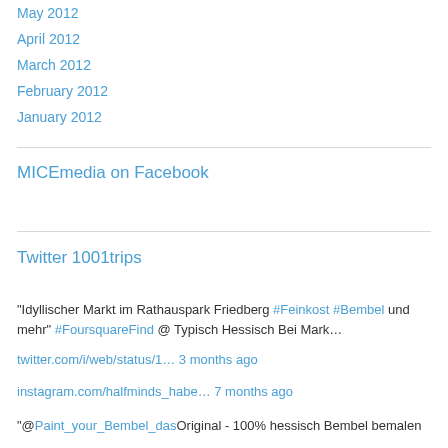May 2012
April 2012
March 2012
February 2012
January 2012
MICEmedia on Facebook
Twitter 1001trips
"Idyllischer Markt im Rathauspark Friedberg #Feinkost #Bembel und mehr" #FoursquareFind @ Typisch Hessisch Bei Mark…
twitter.com/i/web/status/1… 3 months ago
instagram.com/halfminds_habe… 7 months ago
"@Paint_your_Bembel_dasOriginal - 100% hessisch Bembel bemalen